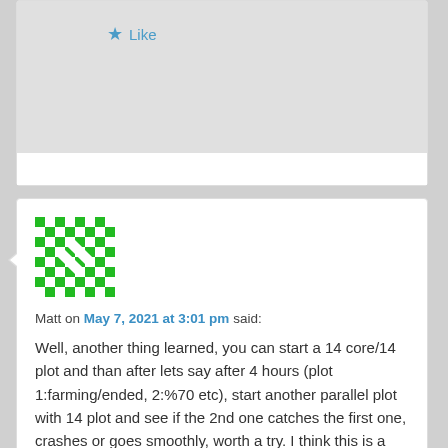[Figure (other): Like button with blue star icon on grey background, partially visible top comment]
[Figure (other): Green and white checkerboard avatar/identicon for user Matt]
Matt on May 7, 2021 at 3:01 pm said:
Well, another thing learned, you can start a 14 core/14 plot and than after lets say after 4 hours (plot 1:farming/ended, 2:%70 etc), start another parallel plot with 14 plot and see if the 2nd one catches the first one, crashes or goes smoothly, worth a try. I think this is a part of Plotmans code isnt it?
Final question, which i can not wrap my thick head around, lets say you have 200tb farm, and all is